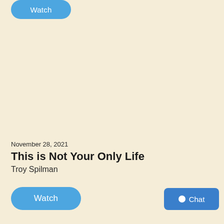[Figure (screenshot): Partially visible blue Watch button at the top of the screen]
November 28, 2021
This is Not Your Only Life
Troy Spilman
[Figure (screenshot): Blue rounded Watch button]
[Figure (screenshot): Blue Chat button with circle dot icon in bottom right corner]